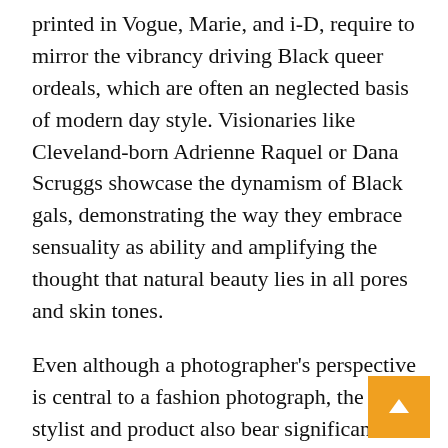printed in Vogue, Marie, and i-D, require to mirror the vibrancy driving Black queer ordeals, which are often an neglected basis of modern day style. Visionaries like Cleveland-born Adrienne Raquel or Dana Scruggs showcase the dynamism of Black gals, demonstrating the way they embrace sensuality as ability and amplifying the thought that natural beauty lies in all pores and skin tones.
Even although a photographer's perspective is central to a fashion photograph, the stylist and product also bear significant responsibility for generation of the remaining graphic. The stylist has the task of earning ensembles and in some cases serves as a imaginative director, shaping the narrative of the photograph. Stylists ought to stability the practicality of capturing garment with the require to make a fantasy. A extraordinary